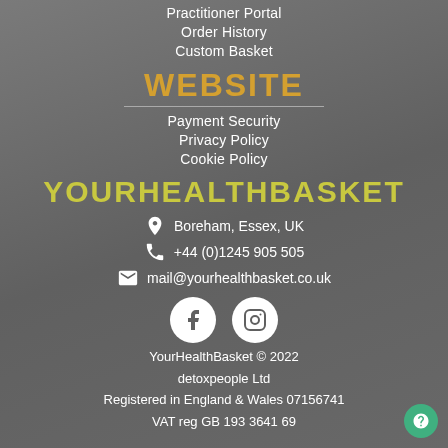Practitioner Portal
Order History
Custom Basket
WEBSITE
Payment Security
Privacy Policy
Cookie Policy
YOURHEALTHBASKET
Boreham, Essex, UK
+44 (0)1245 905 505
mail@yourhealthbasket.co.uk
[Figure (logo): Facebook and Instagram social media icons in white circles]
YourHealthBasket © 2022 detoxpeople Ltd Registered in England & Wales 07156741 VAT reg GB 193 3641 69